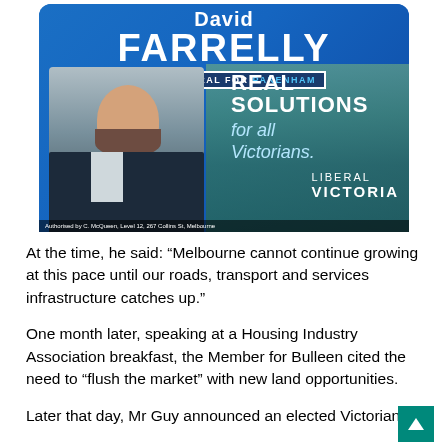[Figure (photo): Campaign poster for David Farrelly, State Liberal for Pakenham. Features a photo of a man in a dark suit with text reading 'REAL SOLUTIONS for all Victorians.' and 'LIBERAL VICTORIA'. Authorised by C. McQueen, Level 12, 267 Collins St, Melbourne.]
At the time, he said: “Melbourne cannot continue growing at this pace until our roads, transport and services infrastructure catches up.”
One month later, speaking at a Housing Industry Association breakfast, the Member for Bulleen cited the need to “flush the market” with new land opportunities.
Later that day, Mr Guy announced an elected Victorian